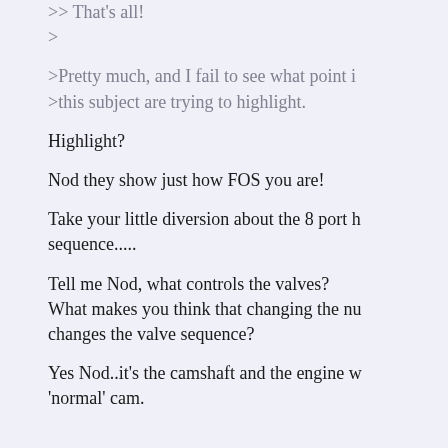>> That's all!
>
>Pretty much, and I fail to see what point i
>this subject are trying to highlight.
Highlight?
Nod they show just how FOS you are!
Take your little diversion about the 8 port h
sequence.....
Tell me Nod, what controls the valves?
What makes you think that changing the nu
changes the valve sequence?
Yes Nod..it's the camshaft and the engine w
'normal' cam.
OzOne of the three twins
I welcome you to Crackerbox Palace.